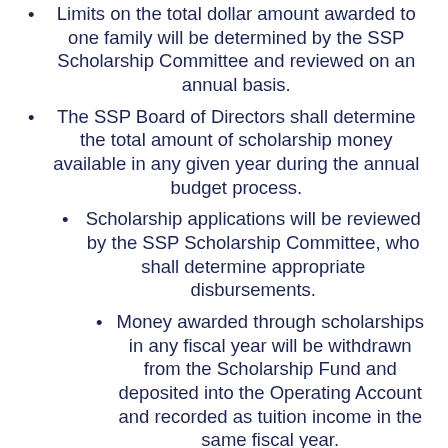Limits on the total dollar amount awarded to one family will be determined by the SSP Scholarship Committee and reviewed on an annual basis.
The SSP Board of Directors shall determine the total amount of scholarship money available in any given year during the annual budget process.
Scholarship applications will be reviewed by the SSP Scholarship Committee, who shall determine appropriate disbursements.
Money awarded through scholarships in any fiscal year will be withdrawn from the Scholarship Fund and deposited into the Operating Account and recorded as tuition income in the same fiscal year.